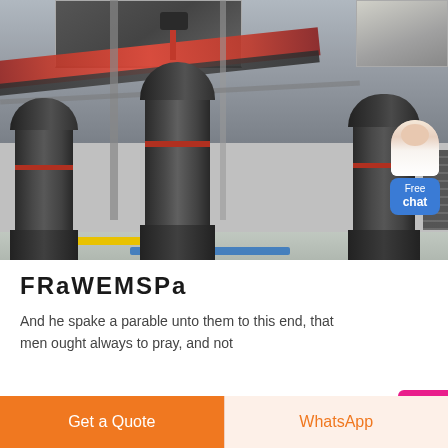[Figure (photo): Industrial machinery photo showing large cone crusher machines in a factory/mine setting. Multiple gray cylindrical crushing machines with red accent bands are visible on a factory floor under a steel-framed roof structure. Conveyor belts are visible in the background.]
FRaWEMSPa
And he spake a parable unto them to this end, that men ought always to pray, and not